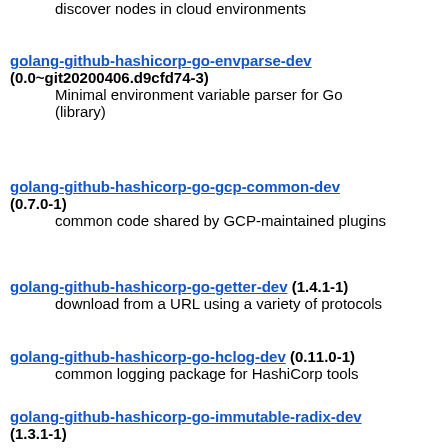discover nodes in cloud environments
golang-github-hashicorp-go-envparse-dev (0.0~git20200406.d9cfd74-3)
    Minimal environment variable parser for Go (library)
golang-github-hashicorp-go-gcp-common-dev (0.7.0-1)
    common code shared by GCP-maintained plugins
golang-github-hashicorp-go-getter-dev (1.4.1-1)
    download from a URL using a variety of protocols
golang-github-hashicorp-go-hclog-dev (0.11.0-1)
    common logging package for HashiCorp tools
golang-github-hashicorp-go-immutable-radix-dev (1.3.1-1)